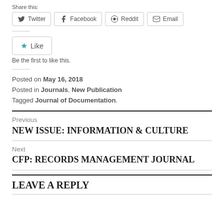Share this:
Twitter  Facebook  Reddit  Email
Like
Be the first to like this.
Posted on May 16, 2018
Posted in Journals, New Publication
Tagged Journal of Documentation.
Previous
NEW ISSUE: INFORMATION & CULTURE
Next
CFP: RECORDS MANAGEMENT JOURNAL
LEAVE A REPLY